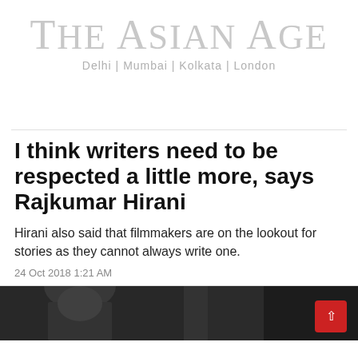THE ASIAN AGE
Delhi | Mumbai | Kolkata | London
I think writers need to be respected a little more, says Rajkumar Hirani
Hirani also said that filmmakers are on the lookout for stories as they cannot always write one.
24 Oct 2018 1:21 AM
[Figure (photo): Photo of Rajkumar Hirani, partially visible at the bottom of the page]